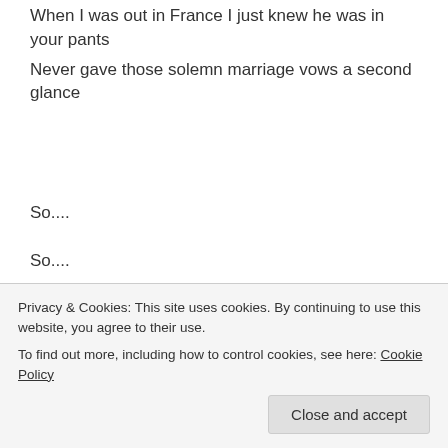When I was out in France I just knew he was in your pants
Never gave those solemn marriage vows a second glance
So....
So....
So when I did that shift in Paris, I bet you couldn't wait
I wonder if he knew back then he had it on a plate?
So.......
Privacy & Cookies: This site uses cookies. By continuing to use this website, you agree to their use. To find out more, including how to control cookies, see here: Cookie Policy
Close and accept